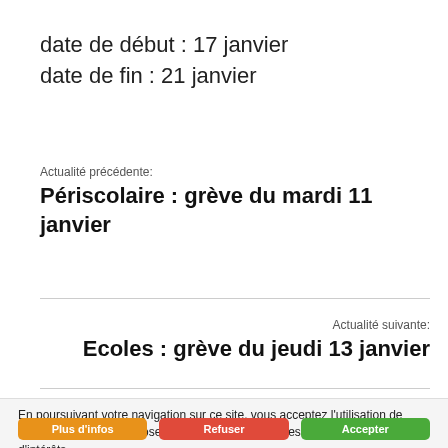date de début : 17 janvier
date de fin : 21 janvier
Actualité précédente:
Périscolaire : grève du mardi 11 janvier
Actualité suivante:
Ecoles : grève du jeudi 13 janvier
En poursuivant votre navigation sur ce site, vous acceptez l'utilisation de cookies pour vous proposer des contenus et services adaptés à vos centres d'intérêts.